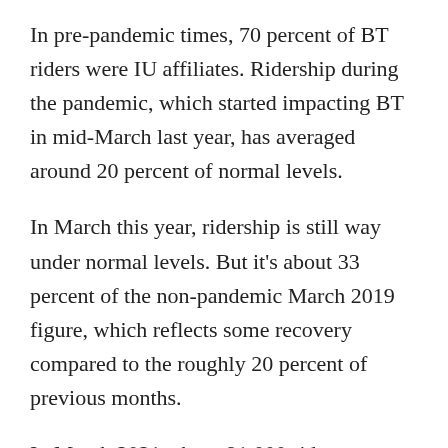In pre-pandemic times, 70 percent of BT riders were IU affiliates. Ridership during the pandemic, which started impacting BT in mid-March last year, has averaged around 20 percent of normal levels.
In March this year, ridership is still way under normal levels. But it’s about 33 percent of the non-pandemic March 2019 figure, which reflects some recovery compared to the roughly 20 percent of previous months.
In March 2021, about 91,000 rides were taken on fixed route BT buses, compared to 275,000 in March 2019.
Hiring challenges are not unique to BT, among transit systems, or other regional employers